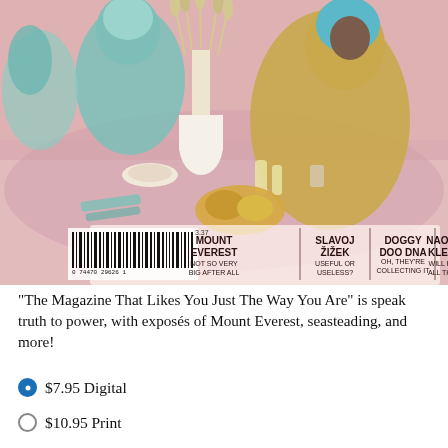[Figure (illustration): Magazine back cover illustration showing two stylized figures at a pink dining table. One figure in teal/green clothing, another in yellow/mustard clothing with blue hair. Table has food, drinks, and wheat/grain centerpiece. Pink and muted color palette. A barcode is visible in lower left, and overlay text columns show article titles: MOUNT EVEREST NOT SO VERY BIG AFTER ALL | SLAVOJ ŽIŽEK USEFUL OR USELESS? | DOGGY DOO DNA OH, THEY'RE COLLECTING IT | NAOMI KLEIN WILL FIX ALL THIS]
"The Magazine That Likes You Just The Way You Are" is speak truth to power, with exposés of Mount Everest, seasteading, and more!
● $7.95 Digital
○ $10.95 Print